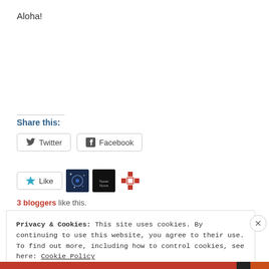Aloha!
Share this:
[Figure (screenshot): Twitter and Facebook share buttons]
[Figure (screenshot): Like button with star icon, followed by three blogger avatar thumbnails]
3 bloggers like this.
Privacy & Cookies: This site uses cookies. By continuing to use this website, you agree to their use.
To find out more, including how to control cookies, see here: Cookie Policy
Close and accept